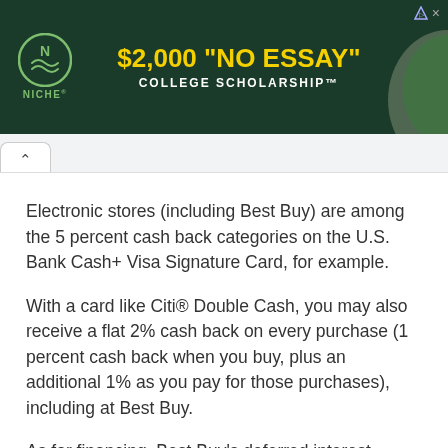[Figure (screenshot): Niche.com advertisement banner: $2,000 No Essay College Scholarship with Niche logo on dark green background]
Electronic stores (including Best Buy) are among the 5 percent cash back categories on the U.S. Bank Cash+ Visa Signature Card, for example.
With a card like Citi® Double Cash, you may also receive a flat 2% cash back on every purchase (1 percent cash back when you buy, plus an additional 1% as you pay for those purchases), including at Best Buy.
As for financing, Best Buy's deferred interest options are only available for purchases over $299. For some options, such as 24 months, no interest on select exercise equipment over $799. You'll